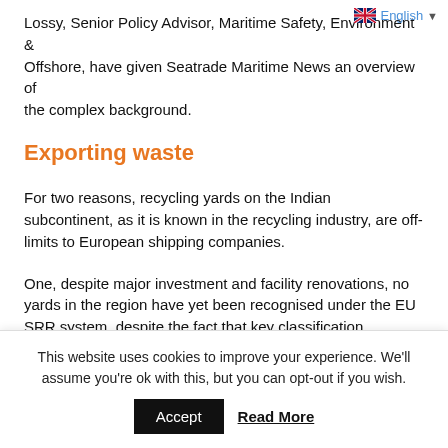Lossy, Senior Policy Advisor, Maritime Safety, Environment & Offshore, have given Seatrade Maritime News an overview of the complex background.
Exporting waste
For two reasons, recycling yards on the Indian subcontinent, as it is known in the recycling industry, are off-limits to European shipping companies.
One, despite major investment and facility renovations, no yards in the region have yet been recognised under the EU SRR system, despite the fact that key classification societies have
This website uses cookies to improve your experience. We'll assume you're ok with this, but you can opt-out if you wish.
Accept   Read More